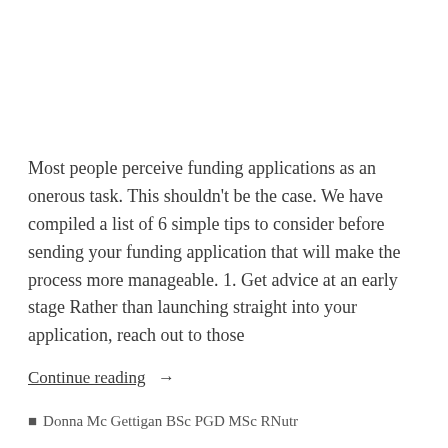Most people perceive funding applications as an onerous task. This shouldn't be the case. We have compiled a list of 6 simple tips to consider before sending your funding application that will make the process more manageable. 1. Get advice at an early stage Rather than launching straight into your application, reach out to those
Continue reading →
Donna Mc Gettigan BSc PGD MSc RNutr